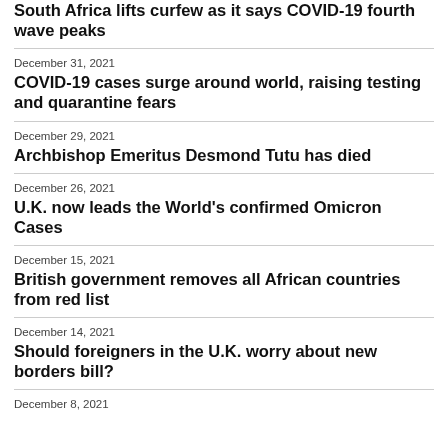South Africa lifts curfew as it says COVID-19 fourth wave peaks
December 31, 2021 — COVID-19 cases surge around world, raising testing and quarantine fears
December 29, 2021 — Archbishop Emeritus Desmond Tutu has died
December 26, 2021 — U.K. now leads the World's confirmed Omicron Cases
December 15, 2021 — British government removes all African countries from red list
December 14, 2021 — Should foreigners in the U.K. worry about new borders bill?
December 8, 2021